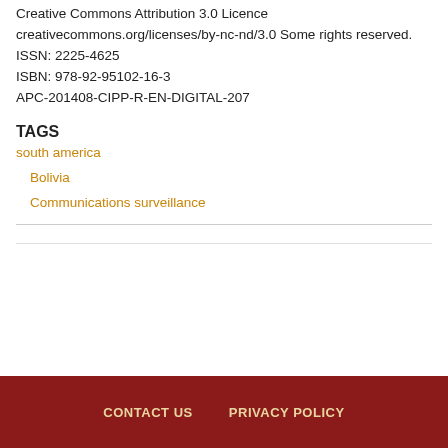Creative Commons Attribution 3.0 Licence creativecommons.org/licenses/by-nc-nd/3.0 Some rights reserved.
ISSN: 2225-4625
ISBN: 978-92-95102-16-3
APC-201408-CIPP-R-EN-DIGITAL-207
TAGS
south america
Bolivia
Communications surveillance
CONTACT US   PRIVACY POLICY